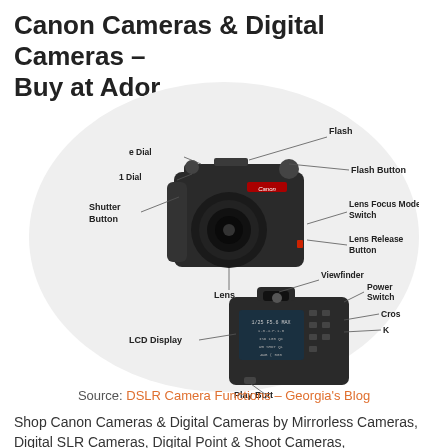Canon Cameras & Digital Cameras – Buy at Ador
[Figure (illustration): Diagram of a Canon DSLR camera showing labeled parts: front view with Flash, Flash Button, Lens Focus Mode Switch, Lens Release Button, Lens, Shutter Button, Mode Dial, Quick Dial; rear view with Viewfinder, Power Switch, Cross Key, LCD Display, Play Button.]
Source: DSLR Camera Functions – Georgia's Blog
Shop Canon Cameras & Digital Cameras by Mirrorless Cameras, Digital SLR Cameras, Digital Point & Shoot Cameras,